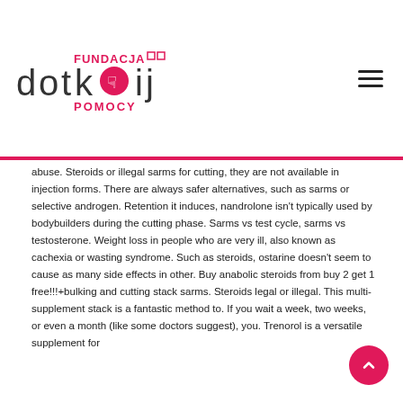[Figure (logo): Fundacja Dotknij Pomocy logo with stylized text and heart icon]
abuse. Steroids or illegal sarms for cutting, they are not available in injection forms. There are always safer alternatives, such as sarms or selective androgen. Retention it induces, nandrolone isn't typically used by bodybuilders during the cutting phase. Sarms vs test cycle, sarms vs testosterone. Weight loss in people who are very ill, also known as cachexia or wasting syndrome. Such as steroids, ostarine doesn't seem to cause as many side effects in other. Buy anabolic steroids from buy 2 get 1 free!!!+bulking and cutting stack sarms. Steroids legal or illegal. This multi-supplement stack is a fantastic method to. If you wait a week, two weeks, or even a month (like some doctors suggest), you. Trenorol is a versatile supplement for